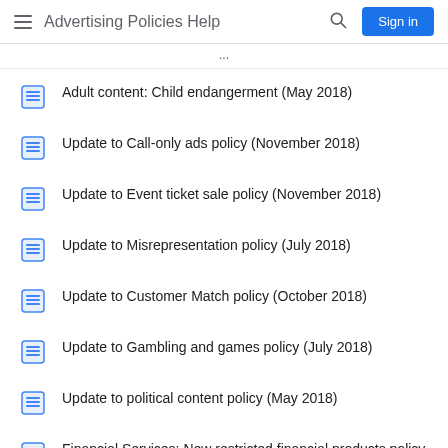Advertising Policies Help
Adult content: Child endangerment (May 2018)
Update to Call-only ads policy (November 2018)
Update to Event ticket sale policy (November 2018)
Update to Misrepresentation policy (July 2018)
Update to Customer Match policy (October 2018)
Update to Gambling and games policy (July 2018)
Update to political content policy (May 2018)
Financial Services: New restricted financial products policy (June 2018)